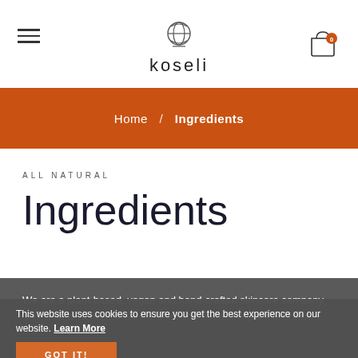[Figure (logo): Koseli brand logo with leaf/globe icon and brand name 'koseli' in light font]
Home / Ingredients
ALL NATURAL
Ingredients
We are a plant-based, vegan and hand-crafted skincare company that aims to revolutionise the skincare industry a plant at a time.
This website uses cookies to ensure you get the best experience on our website. Learn More
GOT IT!